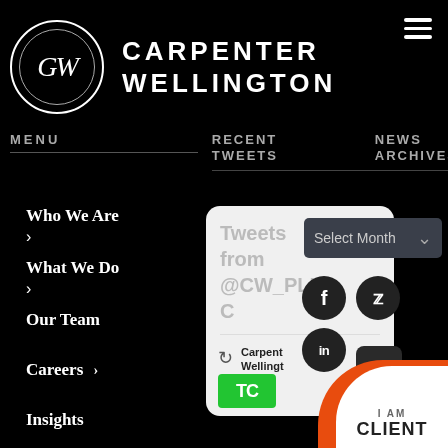[Figure (logo): Carpenter Wellington law firm logo: circular emblem with GW initials, next to firm name in bold uppercase letters]
CARPENTER WELLINGTON
MENU
RECENT TWEETS
NEWS ARCHIVES
Who We Are
What We Do
Our Team
Careers
Insights
[Figure (screenshot): Twitter/X widget showing tweets from @CW_PLLC, with a retweet showing Carpenter Wellington and TechCrunch logo]
Select Month
[Figure (infographic): Social media icons: Facebook (f), Twitter bird, LinkedIn (in)]
[Figure (infographic): I AM CLIENT badge with orange circular design]